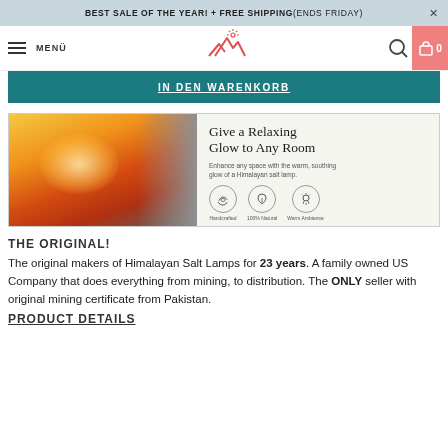BEST SALE OF THE YEAR! + FREE SHIPPING (ENDS FRIDAY) ×
MENÜ [logo] [search] [cart 0]
IN DEN WARENKORB
[Figure (photo): Product banner showing a glowing Himalayan salt lamp on the left half, and on the right half: 'Give a Relaxing Glow to Any Room' headline, subtitle 'Enhance any space with the warm, soothing glow of a Himalayan salt lamp.', and three circular icons labeled Handcrafted, 100% Natural, Warm Ambience.]
THE ORIGINAL!
The original makers of Himalayan Salt Lamps for 23 years. A family owned US Company that does everything from mining, to distribution. The ONLY seller with original mining certificate from Pakistan.
PRODUCT DETAILS